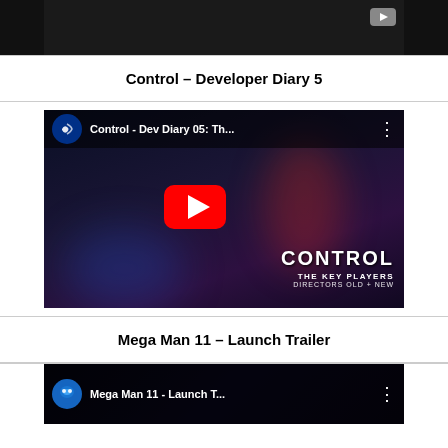[Figure (screenshot): Partial YouTube video thumbnail at top of page, dark background with a small YouTube icon on the right]
Control – Developer Diary 5
[Figure (screenshot): YouTube embed thumbnail for 'Control - Dev Diary 05: Th...' showing PlayStation channel icon, large red play button, and game scene with text 'CONTROL THE KEY PLAYERS DIRECTORS OLD + NEW']
Mega Man 11 – Launch Trailer
[Figure (screenshot): YouTube embed thumbnail for 'Mega Man 11 - Launch T...' showing Mega Man channel icon with blue helmet character]